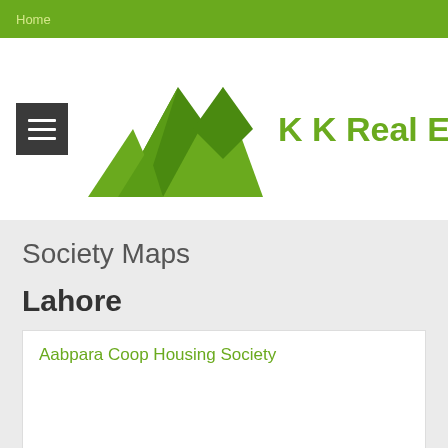Home
[Figure (logo): K K Real Estate logo with green mountain/chevron icon and hamburger menu button]
Society Maps
Lahore
Aabpara Coop Housing Society
Abid City